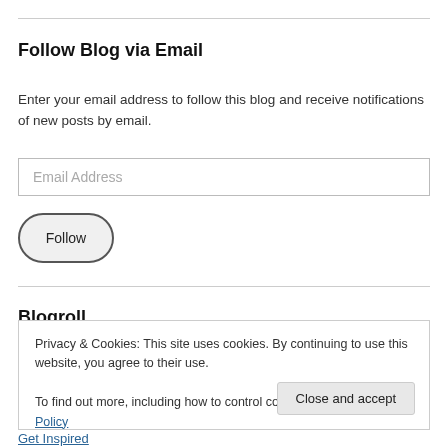Follow Blog via Email
Enter your email address to follow this blog and receive notifications of new posts by email.
Email Address
Follow
Blogroll
Privacy & Cookies: This site uses cookies. By continuing to use this website, you agree to their use.
To find out more, including how to control cookies, see here: Cookie Policy
Close and accept
Get Inspired